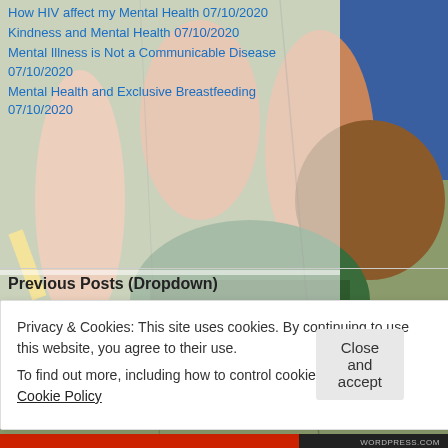[Figure (illustration): Colorful hand-drawn illustration of people's legs, feet and hands in casual clothing with green and brown tones, partially visible in the background behind content overlays.]
How HIV affect my Mental Health 07/10/2020
Kindness and Mental Health 07/10/2020
Mental Illness is Not a Communicable Disease 07/10/2020
Mental Health and Exclusive Breastfeeding 07/10/2020
Previous Posts (Dropdown)
Select Month
Acknowledgement of Sponsors
Privacy & Cookies: This site uses cookies. By continuing to use this website, you agree to their use.
To find out more, including how to control cookies, see here: Cookie Policy
Close and accept